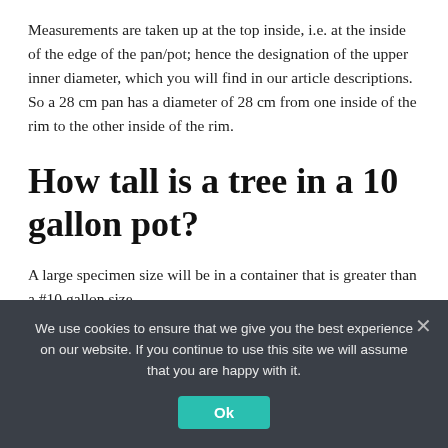Measurements are taken up at the top inside, i.e. at the inside of the edge of the pan/pot; hence the designation of the upper inner diameter, which you will find in our article descriptions. So a 28 cm pan has a diameter of 28 cm from one inside of the rim to the other inside of the rim.
How tall is a tree in a 10 gallon pot?
A large specimen size will be in a container that is greater than a #10 gallon size.
We use cookies to ensure that we give you the best experience on our website. If you continue to use this site we will assume that you are happy with it.